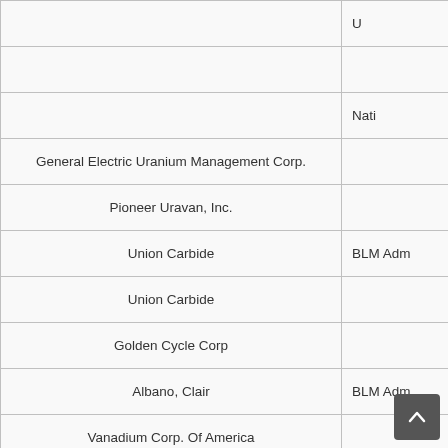|  |  |
| --- | --- |
|  | U… |
|  |  |
|  | Nati… |
| General Electric Uranium Management Corp. |  |
| Pioneer Uravan, Inc. |  |
| Union Carbide | BLM Adm… |
| Union Carbide |  |
| Golden Cycle Corp |  |
| Albano, Clair | BLM Adm… |
| Vanadium Corp. Of America |  |
|  |  |
| Fagen And Fagen |  |